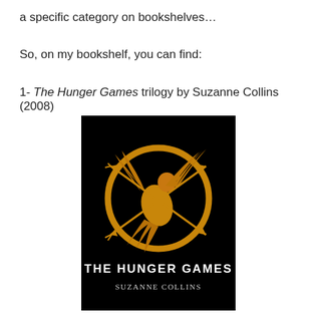a specific category on bookshelves…
So, on my bookshelf, you can find:
1- The Hunger Games trilogy by Suzanne Collins (2008)
[Figure (photo): Book cover of The Hunger Games by Suzanne Collins, showing the mockingjay symbol (a bird inside a golden circle with arrows) on a black background, with the title THE HUNGER GAMES and author name SUZANNE COLLINS at the bottom.]